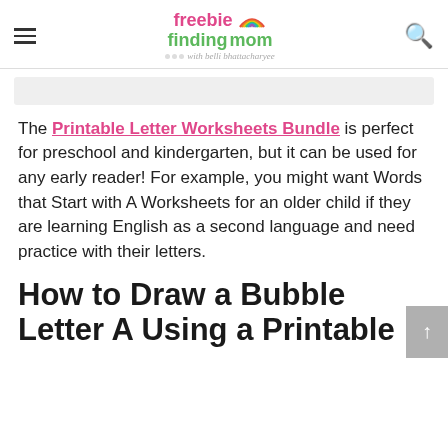freebie finding mom with belli bhattacharyee
[Figure (illustration): Partially visible image placeholder below the header navigation bar]
The Printable Letter Worksheets Bundle is perfect for preschool and kindergarten, but it can be used for any early reader! For example, you might want Words that Start with A Worksheets for an older child if they are learning English as a second language and need practice with their letters.
How to Draw a Bubble Letter A Using a Printable